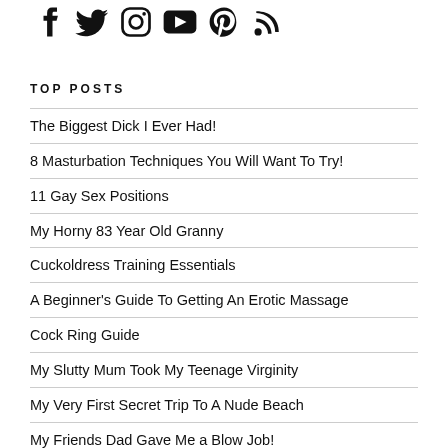[Figure (illustration): Row of social media icons: Facebook, Twitter, Instagram, YouTube, Pinterest, RSS]
TOP POSTS
The Biggest Dick I Ever Had!
8 Masturbation Techniques You Will Want To Try!
11 Gay Sex Positions
My Horny 83 Year Old Granny
Cuckoldress Training Essentials
A Beginner's Guide To Getting An Erotic Massage
Cock Ring Guide
My Slutty Mum Took My Teenage Virginity
My Very First Secret Trip To A Nude Beach
My Friends Dad Gave Me a Blow Job!